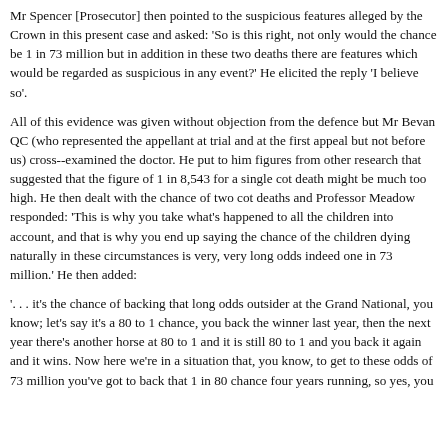Mr Spencer [Prosecutor] then pointed to the suspicious features alleged by the Crown in this present case and asked: 'So is this right, not only would the chance be 1 in 73 million but in addition in these two deaths there are features which would be regarded as suspicious in any event?' He elicited the reply 'I believe so'.
All of this evidence was given without objection from the defence but Mr Bevan QC (who represented the appellant at trial and at the first appeal but not before us) cross--examined the doctor. He put to him figures from other research that suggested that the figure of 1 in 8,543 for a single cot death might be much too high. He then dealt with the chance of two cot deaths and Professor Meadow responded: 'This is why you take what's happened to all the children into account, and that is why you end up saying the chance of the children dying naturally in these circumstances is very, very long odds indeed one in 73 million.' He then added:
'. . . it's the chance of backing that long odds outsider at the Grand National, you know; let's say it's a 80 to 1 chance, you back the winner last year, then the next year there's another horse at 80 to 1 and it is still 80 to 1 and you back it again and it wins. Now here we're in a situation that, you know, to get to these odds of 73 million you've got to back that 1 in 80 chance four years running, so yes, you